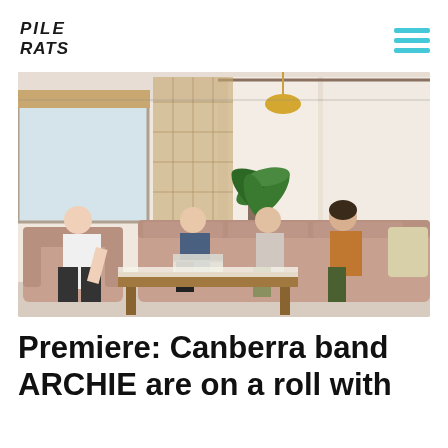PILE RATS
[Figure (photo): Four young people sitting in a retro living room with pink/mauve leather sofas, a wooden coffee table, a large houseplant, and sheer curtains. One person sits in an armchair on the left, while three others sit on a long sofa to the right.]
Premiere: Canberra band ARCHIE are on a roll with